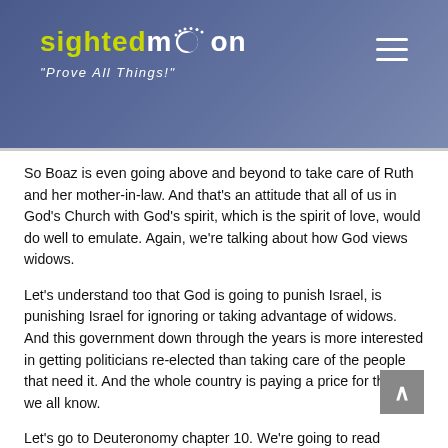sightedmoon "Prove All Things!"
So Boaz is even going above and beyond to take care of Ruth and her mother-in-law. And that's an attitude that all of us in God's Church with God's spirit, which is the spirit of love, would do well to emulate. Again, we're talking about how God views widows.
Let's understand too that God is going to punish Israel, is punishing Israel for ignoring or taking advantage of widows. And this government down through the years is more interested in getting politicians re-elected than taking care of the people that need it. And the whole country is paying a price for this, as we all know.
Let's go to Deuteronomy chapter 10. We're going to read verses 17 and 18. God is very explicit—and we're only covering a fraction of the Scriptures—but God is very explicit that you don't take advantage of widows. You provide for them. You look after them. Deuteronomy 10 verses 17 and 18, again Moses is giving his final message to the nation of Israel.